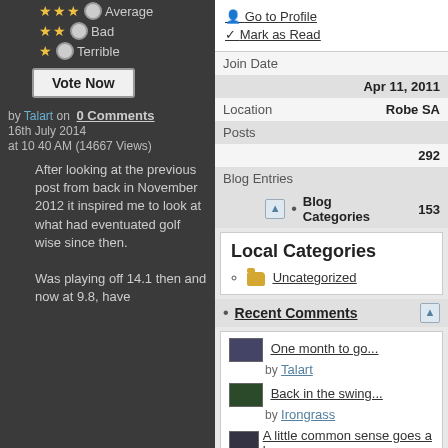★★★ ○ Average
★★ ○ Bad
★ ○ Terrible
Vote Now
by Talart on  0 Comments
16th July 2014
at 10 40 AM (14667 Views)
After looking at the previous post from back in November 2012 it inspired me to look at what had eventuated golf wise since then.

Was playing off 14.1 then and now at 9.8, have
Go to Profile
Mark as Read
| Join Date |  |
| --- | --- |
| Join Date | Apr 11, 2011 |
| Location | Robe SA |
| Posts | 292 |
| Blog Entries | 153 |
Blog Categories
Local Categories
Uncategorized
Recent Comments
One month to go...
by Talart
Back in the swing...
by Irongrass
A little common sense goes a long